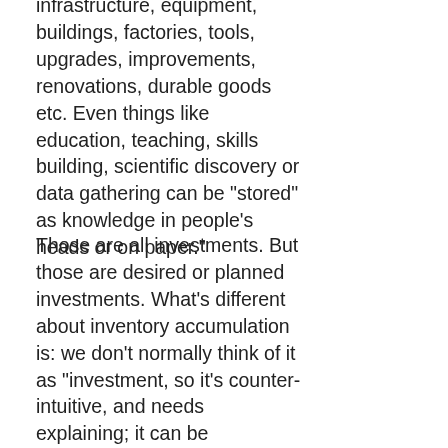infrastructure, equipment, buildings, factories, tools, upgrades, improvements, renovations, durable goods etc. Even things like education, teaching, skills building, scientific discovery or data gathering can be "stored" as knowledge in people's heads or on paper."
Those are all investments. But those are desired or planned investments. What's different about inventory accumulation is: we don't normally think of it as "investment, so it's counter-intuitive, and needs explaining; it can be unplanned/undesired, like